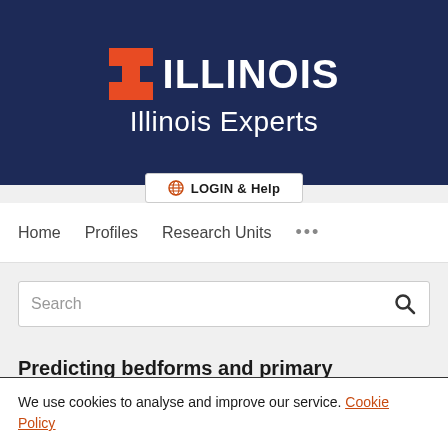[Figure (logo): University of Illinois Illinois Experts website header with navy blue background, orange Illinois block-I logo, white ILLINOIS text, and white Illinois Experts subtitle]
LOGIN & Help
Home   Profiles   Research Units   ...
Search
Predicting bedforms and primary
We use cookies to analyse and improve our service. Cookie Policy